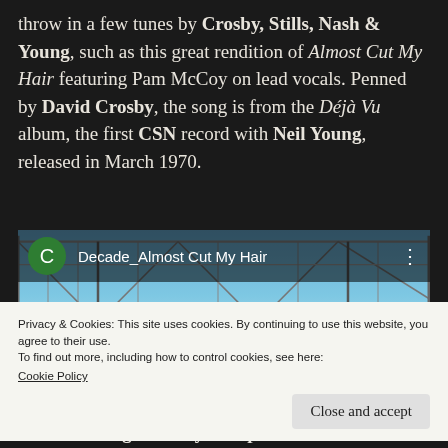throw in a few tunes by Crosby, Stills, Nash & Young, such as this great rendition of Almost Cut My Hair featuring Pam McCoy on lead vocals. Penned by David Crosby, the song is from the Déjà Vu album, the first CSN record with Neil Young, released in March 1970.
[Figure (screenshot): Embedded YouTube-style video thumbnail showing 'Decade_Almost Cut My Hair' with a green circle avatar with letter C, video title text, three-dot menu icon, and a scene of performers on an outdoor stage with a steel truss roof structure. A red play button is visible at the bottom center.]
Privacy & Cookies: This site uses cookies. By continuing to use this website, you agree to their use.
To find out more, including how to control cookies, see here:
Cookie Policy

Close and accept
The Traveling Milburys/Telephone Line